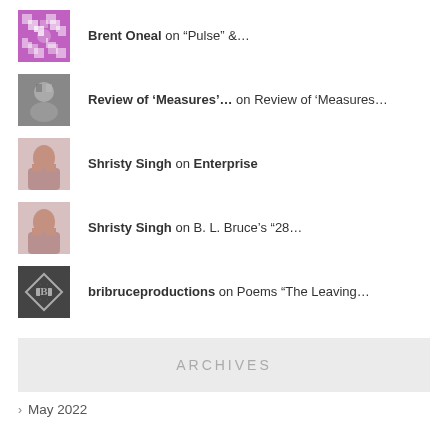Brent Oneal on “Pulse” &…
Review of ‘Measures’… on Review of ‘Measures…
Shristy Singh on Enterprise
Shristy Singh on B. L. Bruce’s “28…
bribruceproductions on Poems “The Leaving…
ARCHIVES
May 2022